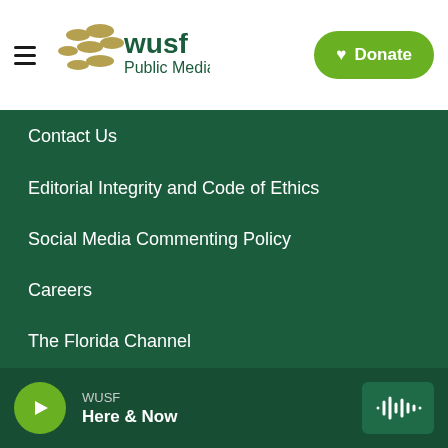WUSF Public Media | Donate
Contact Us
Editorial Integrity and Code of Ethics
Social Media Commenting Policy
Careers
The Florida Channel
Governance
FCC Public Files
Public File Assistance
WUSF Here & Now